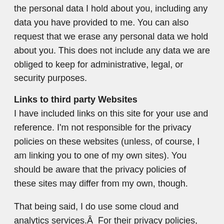the personal data I hold about you, including any data you have provided to me. You can also request that we erase any personal data we hold about you. This does not include any data we are obliged to keep for administrative, legal, or security purposes.
Links to third party Websites
I have included links on this site for your use and reference. I'm not responsible for the privacy policies on these websites (unless, of course, I am linking you to one of my own sites). You should be aware that the privacy policies of these sites may differ from my own, though.
That being said, I do use some cloud and analytics services.Â  For their privacy policies, please see:
CloudFlare (Cloud Hosting) https://www.cloudflare.com/security-policy/
GoogleÂ  https://policies.google.com/privacy?